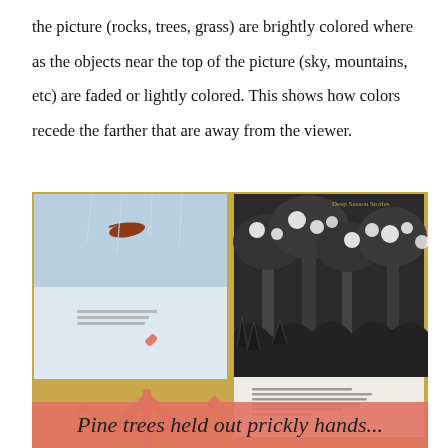the picture (rocks, trees, grass) are brightly colored where as the objects near the top of the picture (sky, mountains, etc) are faded or lightly colored. This shows how colors recede the farther that are away from the viewer.
[Figure (photo): Two open picture books photographed on a golden surface. Left book shows a winter scene with a bird flying over a snowy landscape with text. A coral/salmon snowflake graphic overlays the lower left corner. Right book shows a dark forest scene with pine trees in black and white illustration style, with text reading 'Once upon a northern night pine trees held out prickly hands to catch the falling flakes that gathered into puffs of snowy white, sitting like balls of cotton, waiting.' A coral banner at the bottom reads 'Pine trees held out prickly hands...']
Pine trees held out prickly hands...